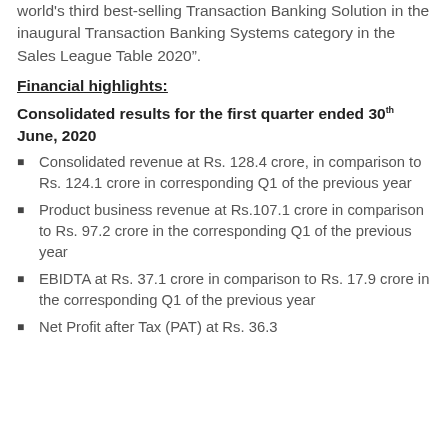world's third best-selling Transaction Banking Solution in the inaugural Transaction Banking Systems category in the Sales League Table 2020”.
Financial highlights:
Consolidated results for the first quarter ended 30th June, 2020
Consolidated revenue at Rs. 128.4 crore, in comparison to Rs. 124.1 crore in corresponding Q1 of the previous year
Product business revenue at Rs.107.1 crore in comparison to Rs. 97.2 crore in the corresponding Q1 of the previous year
EBIDTA at Rs. 37.1 crore in comparison to Rs. 17.9 crore in the corresponding Q1 of the previous year
Net Profit after Tax (PAT) at Rs. 36.3